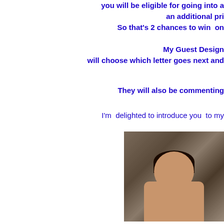you will be eligible for going into a
an additional pri
So that's 2 chances to win on
My Guest Design
will choose which letter goes next and
They will also be commenting
I'm delighted to introduce you to my
Please Welcome
Dr Sonia
(Winner #46)
[Figure (photo): Photo of Dr Sonia smiling, shown from shoulders up, with dark hair, in front of a bamboo or wooden structure background.]